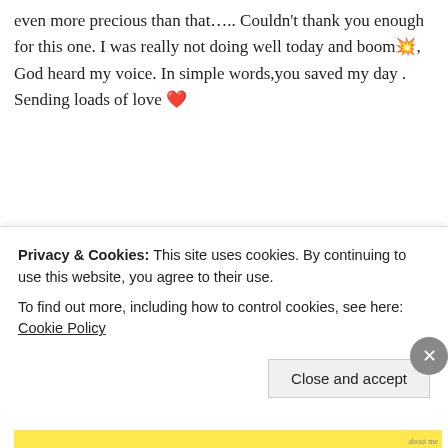even more precious than that….. Couldn't thank you enough for this one. I was really not doing well today and boom💥, God heard my voice. In simple words,you saved my day . Sending loads of love ❤️
★ Liked by 5 people
Log in to Reply
[Figure (screenshot): Comment box with avatar photo of Suma Reddy and author name 'Suma Reddy' in bold]
Privacy & Cookies: This site uses cookies. By continuing to use this website, you agree to their use. To find out more, including how to control cookies, see here: Cookie Policy
Close and accept